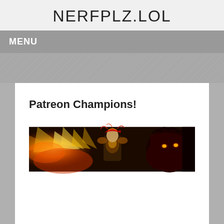NERFPLZ.LOL
MENU
Patreon Champions!
[Figure (illustration): A wide banner image showing League of Legends style fantasy characters: a warrior figure in the center with golden armor and ornate headdress, flames and light rays on the left side, and a dark red demonic creature with glowing orange eyes on the right side.]